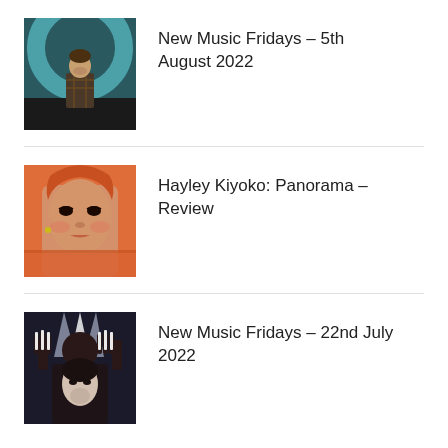[Figure (photo): Photo of a man in a plaid shirt standing in front of a teal/turquoise circular structure]
New Music Fridays – 5th August 2022
[Figure (photo): Close-up photo of Hayley Kiyoko with orange/warm toned background]
Hayley Kiyoko: Panorama – Review
[Figure (photo): Photo of a person in dark clothing with hands raised, light streaming through fingers]
New Music Fridays – 22nd July 2022